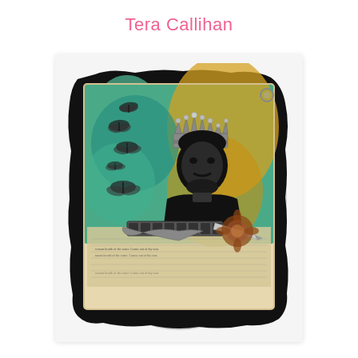Tera Callihan
[Figure (illustration): Mixed media art piece featuring a collage-style portrait of Edgar Allan Poe wearing a decorative crown, surrounded by butterfly/moth silhouettes on a colorful teal and golden-yellow painted background. The piece is layered on torn black paper with vintage book page text visible at the bottom. Decorative metal embellishments including a feather quill, a film strip, and floral metal pieces are attached to the lower portion of the artwork.]